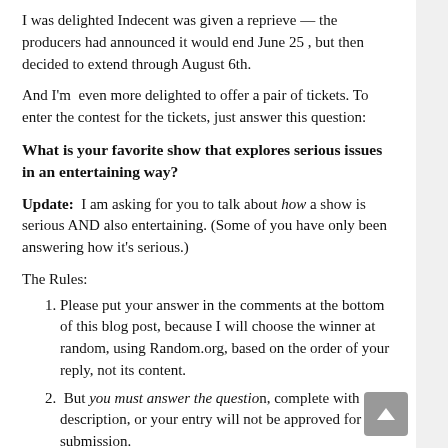I was delighted Indecent was given a reprieve — the producers had announced it would end June 25 , but then decided to extend through August 6th.
And I'm even more delighted to offer a pair of tickets. To enter the contest for the tickets, just answer this question:
What is your favorite show that explores serious issues in an entertaining way?
Update: I am asking for you to talk about how a show is serious AND also entertaining. (Some of you have only been answering how it's serious.)
The Rules:
Please put your answer in the comments at the bottom of this blog post, because I will choose the winner at random, using Random.org, based on the order of your reply, not its content.
But you must answer the question, complete with description, or your entry will not be approved for submission.